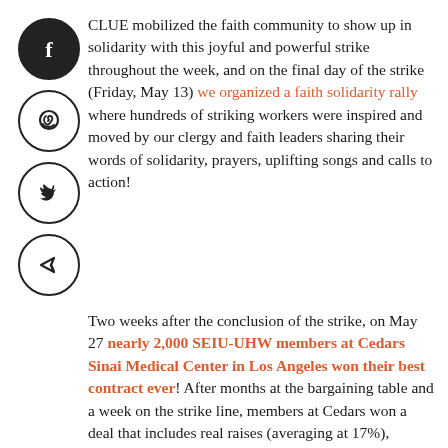[Figure (illustration): Four social media / share icons in circles arranged vertically on the left: Facebook (filled dark circle with white 'f'), WhatsApp (outlined circle with phone/speech icon), Twitter (outlined circle with bird icon), Send/Telegram (outlined circle with paper-plane/arrow icon)]
CLUE mobilized the faith community to show up in solidarity with this joyful and powerful strike throughout the week, and on the final day of the strike (Friday, May 13) we organized a faith solidarity rally where hundreds of striking workers were inspired and moved by our clergy and faith leaders sharing their words of solidarity, prayers, uplifting songs and calls to action!
Two weeks after the conclusion of the strike, on May 27 nearly 2,000 SEIU-UHW members at Cedars Sinai Medical Center in Los Angeles won their best contract ever! After months at the bargaining table and a week on the strike line, members at Cedars won a deal that includes real raises (averaging at 17%), increases the minimum